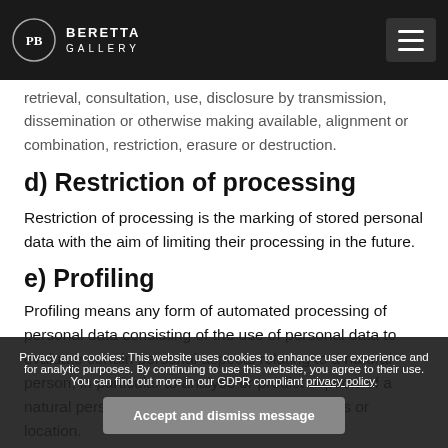BERETTA GALLERY
retrieval, consultation, use, disclosure by transmission, dissemination or otherwise making available, alignment or combination, restriction, erasure or destruction.
d) Restriction of processing
Restriction of processing is the marking of stored personal data with the aim of limiting their processing in the future.
e) Profiling
Profiling means any form of automated processing of personal data consisting of the use of personal data to evaluate certain personal aspects relating to a natural person, in particular to analyse or predict aspects of... personal preferences, interests or location.
Privacy and cookies: This website uses cookies to enhance user experience and for analytic purposes. By continuing to use this website, you agree to their use. You can find out more in our GDPR compliant privacy policy.